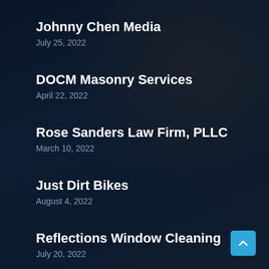Johnny Chen Media
July 25, 2022
DOCM Masonry Services
April 22, 2022
Rose Sanders Law Firm, PLLC
March 10, 2022
Just Dirt Bikes
August 4, 2022
Reflections Window Cleaning
July 20, 2022